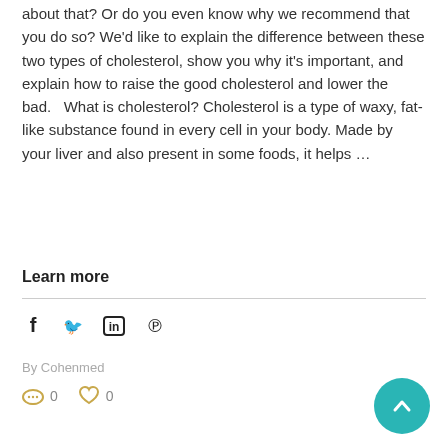about that? Or do you even know why we recommend that you do so? We'd like to explain the difference between these two types of cholesterol, show you why it's important, and explain how to raise the good cholesterol and lower the bad.   What is cholesterol? Cholesterol is a type of waxy, fat-like substance found in every cell in your body. Made by your liver and also present in some foods, it helps …
Learn more
[Figure (infographic): Social sharing icons: Facebook (f), Twitter (bird), LinkedIn (in), Pinterest (p)]
By Cohenmed
0   0